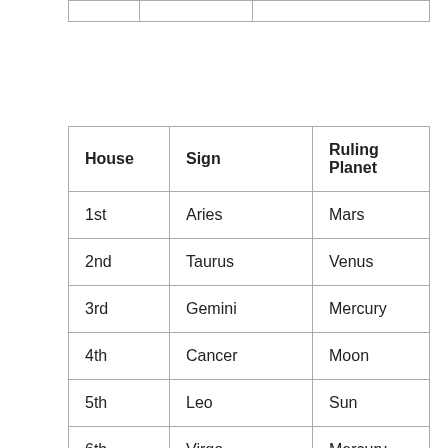| House | Sign | Ruling Planet |
| --- | --- | --- |
| 1st | Aries | Mars |
| 2nd | Taurus | Venus |
| 3rd | Gemini | Mercury |
| 4th | Cancer | Moon |
| 5th | Leo | Sun |
| 6th | Virgo | Mercury |
| 7th | Library | Venus |